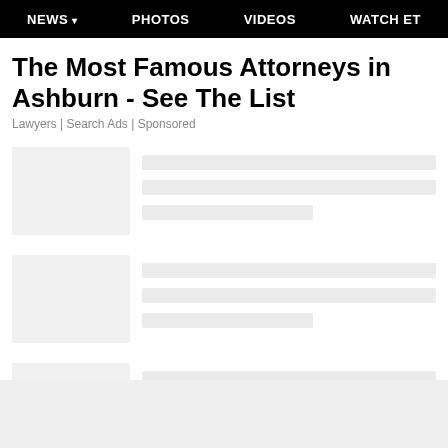NEWS  PHOTOS  VIDEOS  WATCH ET
The Most Famous Attorneys in Ashburn - See The List
Lawyers | Search Ads | Sponsored
[Figure (other): Skeleton loading card 1 with gray image placeholder and three gray text lines]
[Figure (other): Skeleton loading card 2 with gray image placeholder and three gray text lines]
[Figure (other): Skeleton loading card 3 (partially visible) with gray image placeholder and two gray text lines]